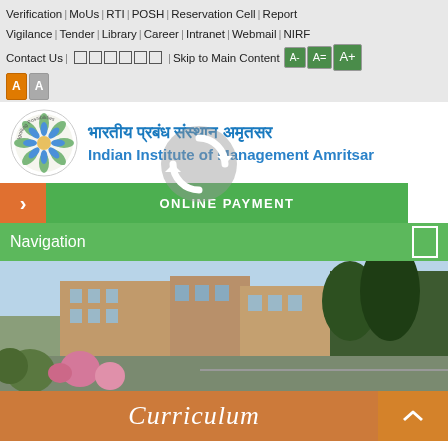Verification | MoUs | RTI | POSH | Reservation Cell | Report | Vigilance | Tender | Library | Career | Intranet | Webmail | NIRF | Contact Us | □□□□□□ | Skip to Main Content | A- A= A+ | A A
[Figure (logo): IIM Amritsar circular logo with lotus/floral design and text 'Igniting Possibilities']
भारतीय प्रबंध संस्थान अमृतसर Indian Institute of Management Amritsar
[Figure (other): Refresh/reload icon overlay (circular arrow icon in white)]
ONLINE PAYMENT
Navigation
[Figure (photo): Campus photograph showing multi-storey brick/concrete buildings with trees and pink flowering plants in foreground]
Curriculum
About the Program